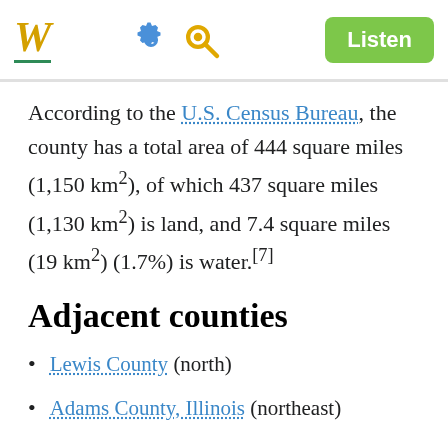W [Wikipedia logo] [gear icon] [search icon] Listen
According to the U.S. Census Bureau, the county has a total area of 444 square miles (1,150 km²), of which 437 square miles (1,130 km²) is land, and 7.4 square miles (19 km²) (1.7%) is water.[7]
Adjacent counties
Lewis County (north)
Adams County, Illinois (northeast)